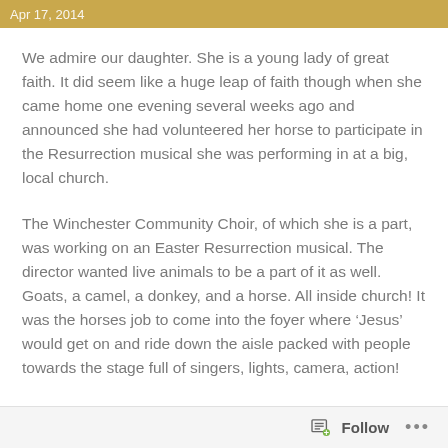Apr 17, 2014
We admire our daughter. She is a young lady of great faith. It did seem like a huge leap of faith though when she came home one evening several weeks ago and announced she had volunteered her horse to participate in the Resurrection musical she was performing in at a big, local church.
The Winchester Community Choir, of which she is a part, was working on an Easter Resurrection musical. The director wanted live animals to be a part of it as well. Goats, a camel, a donkey, and a horse. All inside church! It was the horses job to come into the foyer where ‘Jesus’ would get on and ride down the aisle packed with people towards the stage full of singers, lights, camera, action!
Follow ...